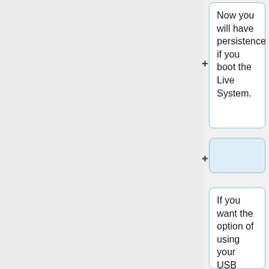Now you will have persistence if you boot the Live System.
If you want the option of using your USB flash memory drive in both persistent and non persistent modes (sometimes you want to save changes and sometimes you don't), then leave the <code>label live</code> section alone and directly